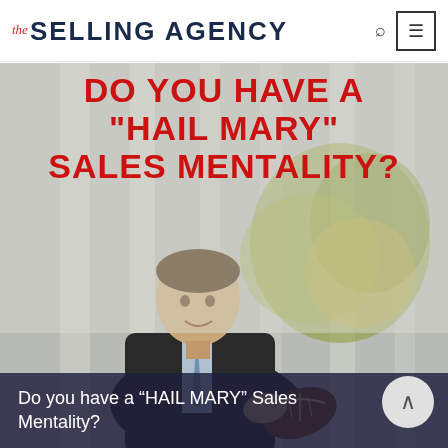the SELLING AGENCY
[Figure (photo): A man in a business suit holding an American football, seated in an office lobby. Overlaid with large red bold text: DO YOU HAVE A "HAIL MARY" SALES MENTALITY?]
Do you have a “HAIL MARY” Sales Mentality?